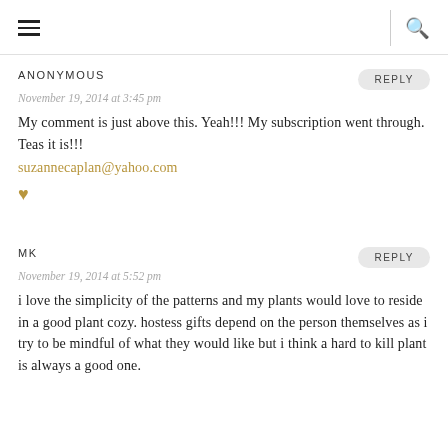≡  [search icon]
ANONYMOUS
REPLY
November 19, 2014 at 3:45 pm
My comment is just above this. Yeah!!! My subscription went through. Teas it is!!!
suzannecaplan@yahoo.com
♥
MK
REPLY
November 19, 2014 at 5:52 pm
i love the simplicity of the patterns and my plants would love to reside in a good plant cozy. hostess gifts depend on the person themselves as i try to be mindful of what they would like but i think a hard to kill plant is always a good one.